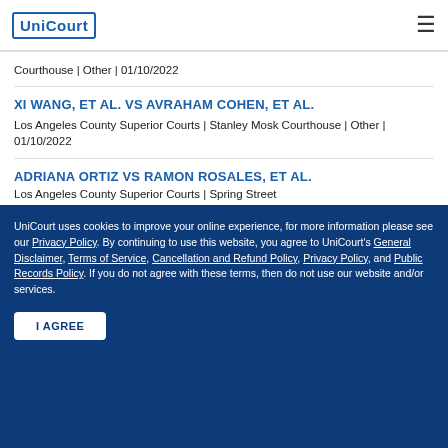UniCourt
Courthouse | Other | 01/10/2022
XI WANG, ET AL. VS AVRAHAM COHEN, ET AL.
Los Angeles County Superior Courts | Stanley Mosk Courthouse | Other | 01/10/2022
ADRIANA ORTIZ VS RAMON ROSALES, ET AL.
Los Angeles County Superior Courts | Spring Street
UniCourt uses cookies to improve your online experience, for more information please see our Privacy Policy. By continuing to use this website, you agree to UniCourt's General Disclaimer, Terms of Service, Cancellation and Refund Policy, Privacy Policy, and Public Records Policy. If you do not agree with these terms, then do not use our website and/or services.